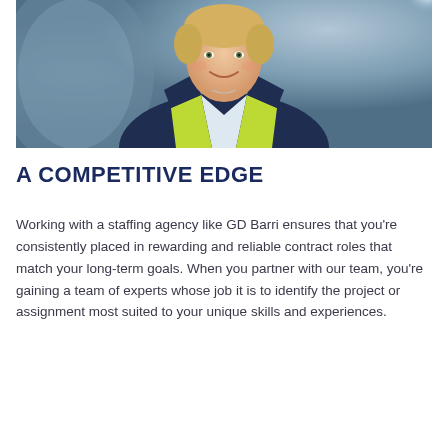[Figure (photo): A smiling middle-aged woman with short blonde hair wearing a yellow-green safety vest over a navy jacket, photographed in an industrial setting with a blurred blue-toned background.]
A COMPETITIVE EDGE
Working with a staffing agency like GD Barri ensures that you're consistently placed in rewarding and reliable contract roles that match your long-term goals. When you partner with our team, you're gaining a team of experts whose job it is to identify the project or assignment most suited to your unique skills and experiences.